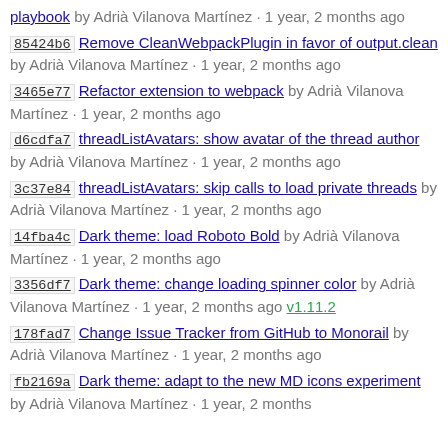playbook by Adrià Vilanova Martínez · 1 year, 2 months ago
85424b6 Remove CleanWebpackPlugin in favor of output.clean by Adrià Vilanova Martínez · 1 year, 2 months ago
3465e77 Refactor extension to webpack by Adrià Vilanova Martínez · 1 year, 2 months ago
d6cdfa7 threadListAvatars: show avatar of the thread author by Adrià Vilanova Martínez · 1 year, 2 months ago
3c37e84 threadListAvatars: skip calls to load private threads by Adrià Vilanova Martínez · 1 year, 2 months ago
14fba4c Dark theme: load Roboto Bold by Adrià Vilanova Martínez · 1 year, 2 months ago
3356df7 Dark theme: change loading spinner color by Adrià Vilanova Martínez · 1 year, 2 months ago v1.11.2
178fad7 Change Issue Tracker from GitHub to Monorail by Adrià Vilanova Martínez · 1 year, 2 months ago
fb2169a Dark theme: adapt to the new MD icons experiment by Adrià Vilanova Martínez · 1 year, 2 months